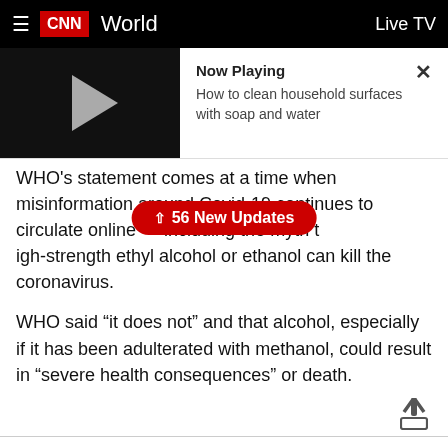CNN World | Live TV
[Figure (screenshot): Video player panel showing Now Playing: How to clean household surfaces with soap and water, with a play button on black background and close X button]
WHO's statement comes at a time when misinformation around Covid-19 continues to circulate online — including the myth that drinking high-strength ethyl alcohol or ethanol can kill the coronavirus.
WHO said "it does not" and that alcohol, especially if it has been adulterated with methanol, could result in "severe health consequences" or death.
2:22 p.m. ET, April 16, 2020
Spain will implement "minimum vital